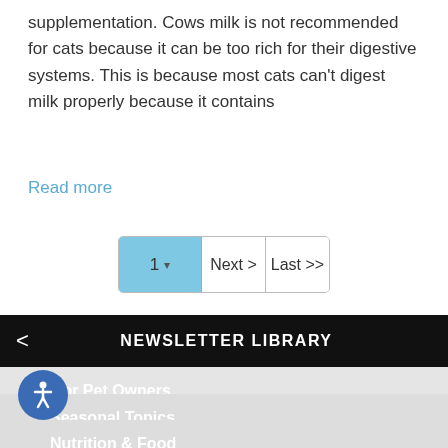supplementation. Cows milk is not recommended for cats because it can be too rich for their digestive systems. This is because most cats can't digest milk properly because it contains
Read more
[Figure (other): Pagination control with page selector showing '1' with dropdown arrow, 'Next >' button, and 'Last >>' button]
NEWSLETTER LIBRARY
Tips for Pet Owners
Seasonal Topics
Nutrition & Food